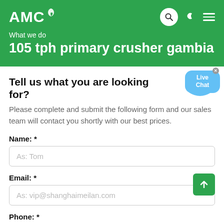AMC
What we do
105 tph primary crusher gambia
Tell us what you are looking for?
Please complete and submit the following form and our sales team will contact you shortly with our best prices.
Name: *
As: Tom
Email: *
As: vip@shanghaimeilan.com
Phone: *
With Country Code